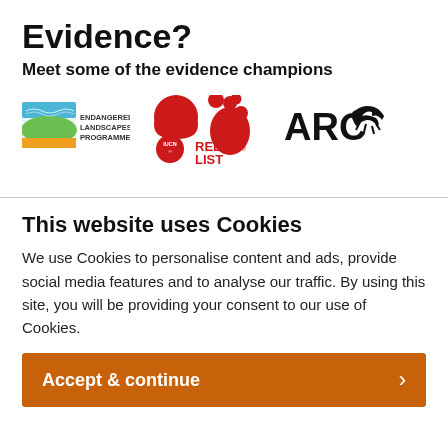Evidence?
Meet some of the evidence champions
[Figure (logo): Three logos in a row: Endangered Landscapes Programme (landscape icon with blue, green, orange), IUCN Red List (red paw print and circle logos with RED LIST text), ARC (bold black text with lizard/newt silhouette)]
This website uses Cookies
We use Cookies to personalise content and ads, provide social media features and to analyse our traffic. By using this site, you will be providing your consent to our use of Cookies.
Accept & continue